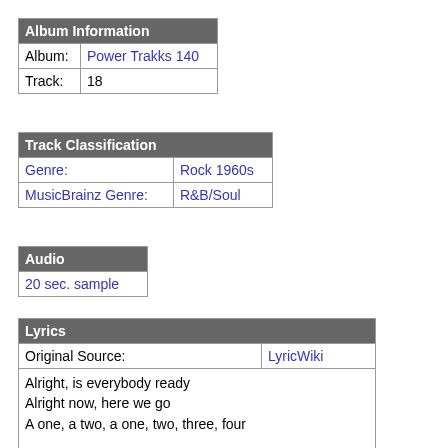| Album Information |
| --- |
| Album: | Power Trakks 140 |
| Track: | 18 |
| Track Classification |
| --- |
| Genre: | Rock 1960s |
| MusicBrainz Genre: | R&B/Soul |
| Audio |
| --- |
| 20 sec. sample |
| Lyrics |
| --- |
| Original Source: | LyricWiki |
| Alright, is everybody ready
Alright now, here we go
A one, a two, a one, two, three, four

Lum de Lum de la iiiiii, (Lum de Lum de la iiiiii,)
Lum de Lum de la iiiiii, (Lum de Lum de la iiiiii,)

This cat named mickey came from out of town
He been spreadin this new dance all around |  |